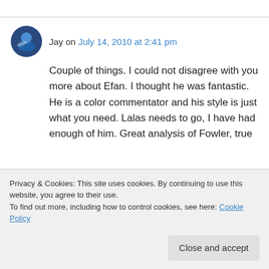Jay on July 14, 2010 at 2:41 pm
Couple of things. I could not disagree with you more about Efan. I thought he was fantastic. He is a color commentator and his style is just what you need. Lalas needs to go, I have had enough of him. Great analysis of Fowler, true
Privacy & Cookies: This site uses cookies. By continuing to use this website, you agree to their use.
To find out more, including how to control cookies, see here: Cookie Policy